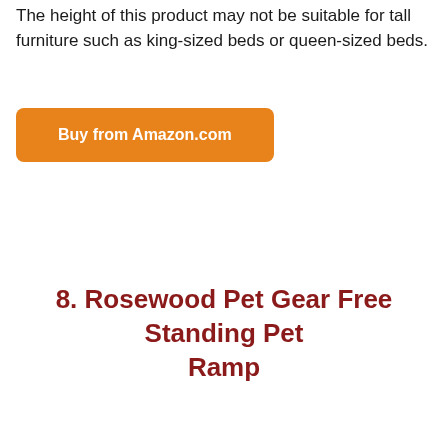The height of this product may not be suitable for tall furniture such as king-sized beds or queen-sized beds.
Buy from Amazon.com
8. Rosewood Pet Gear Free Standing Pet Ramp